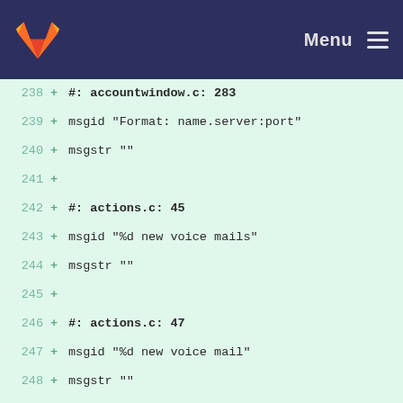GitLab navigation bar with logo and Menu
238  + #: accountwindow.c: 283
239  + msgid "Format: name.server:port"
240  + msgstr ""
241  +
242  + #: actions.c: 45
243  + msgid "%d new voice mails"
244  + msgstr ""
245  +
246  + #: actions.c: 47
247  + msgid "%d new voice mail"
248  + msgstr ""
249  +
250  + #: accountlist.c: 148
251  + msgid "Registered"
252  + msgstr ""
253  +
254  + #: accountlist.c: 151
255  + msgid "Not Registered"
256  + msgstr ""
257  +